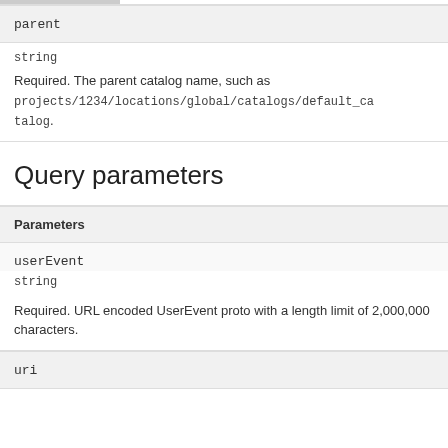| Parameters |
| --- |
| parent |
| string |
| Required. The parent catalog name, such as projects/1234/locations/global/catalogs/default_catalog. |
Query parameters
| Parameters |
| --- |
| userEvent |
| string |
| Required. URL encoded UserEvent proto with a length limit of 2,000,000 characters. |
| uri |